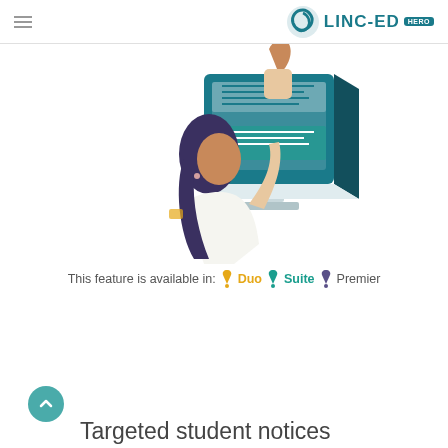LINC-ED HERO
[Figure (illustration): Illustration of a woman with dark hair pointing at a large digital screen/monitor, isometric style with teal and blue colors.]
This feature is available in: Duo Suite Premier
Targeted student notices